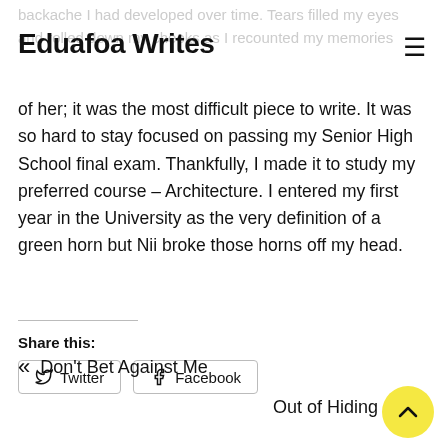Eduafoa Writes
backache I had developed over time. Tears filled my eyes and rolled down my cheeks as I recounted my memories of her; it was the most difficult piece to write. It was so hard to stay focused on passing my Senior High School final exam. Thankfully, I made it to study my preferred course – Architecture. I entered my first year in the University as the very definition of a green horn but Nii broke those horns off my head.
Share this:
Twitter
Facebook
Don't Bet Against Me
Out of Hiding